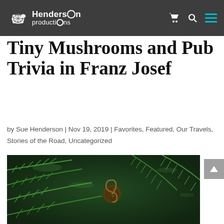Henderson productions
Tiny Mushrooms and Pub Trivia in Franz Josef
by Sue Henderson | Nov 19, 2019 | Favorites, Featured, Our Travels, Stories of the Road, Uncategorized
[Figure (photo): Close-up photograph of fern fronds with a curled fiddlehead fern in the center, lush green tropical forest vegetation]